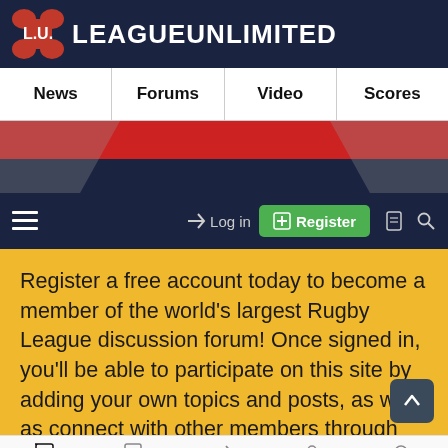L.U. LEAGUEUNLIMITED
News | Forums | Video | Scores
[Figure (screenshot): Rugby League promotional banner image with red and dark navy background]
Log in   Register
Register a free account today to become a member of the world's largest Rugby League discussion forum! Once signed in, you'll be able to participate on this site by adding your own topics and posts, as well as connect with other members through your own private inbox!
Forums   What's New   Log In   Register   Search